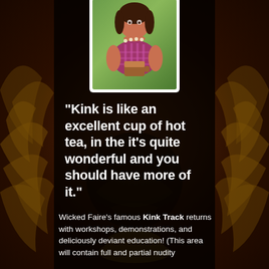[Figure (photo): Woman in pink/purple halter top holding a tea cup, photographed against green background, presented as a white-bordered card]
“Kink is like an excellent cup of hot tea, in the it’s quite wonderful and you should have more of it.”
Wicked Faire’s famous Kink Track returns with workshops, demonstrations, and deliciously deviant education!  (This area will contain full and partial nudity